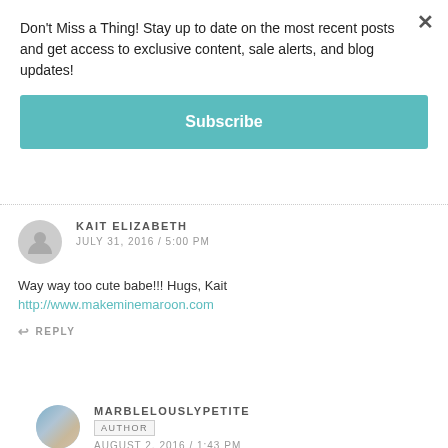Don't Miss a Thing! Stay up to date on the most recent posts and get access to exclusive content, sale alerts, and blog updates!
Subscribe
KAIT ELIZABETH
JULY 31, 2016 / 5:00 PM
Way way too cute babe!!! Hugs, Kait
http://www.makeminemaroon.com
REPLY
MARBLELOUSLYPETITE
AUTHOR
AUGUST 2, 2016 / 1:43 PM